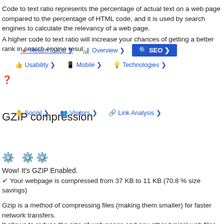Code to text ratio represents the percentage of actual text on a web page compared to the percentage of HTML code, and it is used by search engines to calculate the relevancy of a web page.
A higher code to text ratio will increase your chances of getting a better rank in search engine results.
❓
GZIP compression
⚙ ⚙ ⚙
Wow! It's GZIP Enabled.
✔ Your webpage is compressed from 37 KB to 11 KB (70.8 % size savings)
Gzip is a method of compressing files (making them smaller) for faster network transfers.
It allows to reduce the size of web pages and any other typical web files to about 30% or less of its original size before it transfer.
❓
WWW Resolve
⚙ ⚙ ⚙